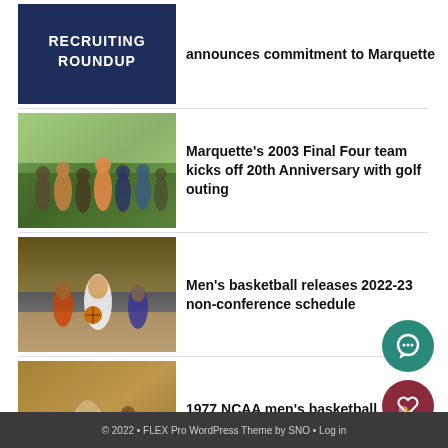[Figure (photo): Recruiting Roundup graphic with dark navy background and white bold text]
announces commitment to Marquette
[Figure (photo): Group of people on a golf course, outdoor greenery background]
Marquette's 2003 Final Four team kicks off 20th Anniversary with golf outing
[Figure (photo): Men's basketball game action shot, player dribbling on court]
Men's basketball releases 2022-23 non-conference schedule
[Figure (photo): Vintage black and white basketball photo, player number 35]
1977 NCAA men's basketball champion Bernard Toone dies at 65
© 2022 • FLEX Pro WordPress Theme by SNO • Log in